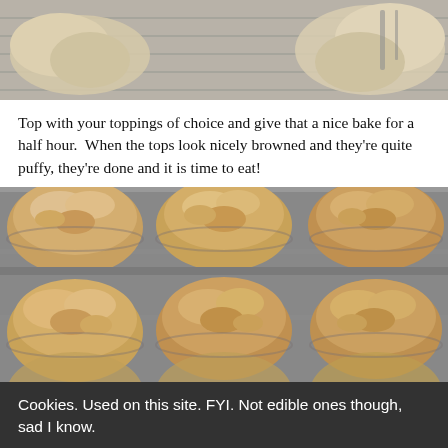[Figure (photo): Top-cropped photo showing baking dish with dough/batter preparation, gray and tan tones]
Top with your toppings of choice and give that a nice bake for a half hour.  When the tops look nicely browned and they're quite puffy, they're done and it is time to eat!
[Figure (photo): Photo of baked bread pudding muffins in a metal muffin tin, golden-brown puffy tops, viewed from above]
Cookies. Used on this site. FYI. Not edible ones though, sad I know.
LET'S EAT
MORE INFO